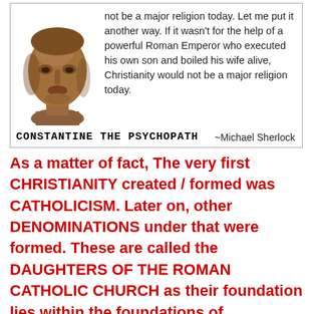[Figure (illustration): A quote card with a brownish bust sculpture of Constantine on the left and quote text on the right, with 'CONSTANTINE THE PSYCHOPATH' label and '~Michael Sherlock' attribution at the bottom.]
As a matter of fact, The very first CHRISTIANITY created / formed was CATHOLICISM. Later on, other DENOMINATIONS under that were formed. These are called the DAUGHTERS OF THE ROMAN CATHOLIC CHURCH as their foundation lies within the foundations of Catholicism Christianity especially if they observe SUNDAY WORSHIP...